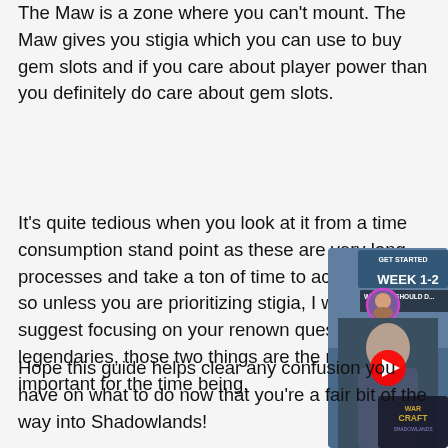The Maw is a zone where you can't mount. The Maw gives you stigia which you can use to buy gem slots and if you care about player power than you definitely do care about gem slots.
It's quite tedious when you look at it from a time consumption stand point as these are very long processes and take a ton of time to acquire stigia, so unless you are prioritizing stigia, I would suggest focusing on your renown quests and your legendaries, those two things are the most important for the time being.
[Figure (screenshot): YouTube video thumbnail showing 'What you SHOULD D...' with text 'WEEK 1-2' and WarCraft Shadowlands logo, with a play button overlay]
Hope this guide helps clear any confusion you have on what to do now that you're a fair bit of the way into Shadowlands!